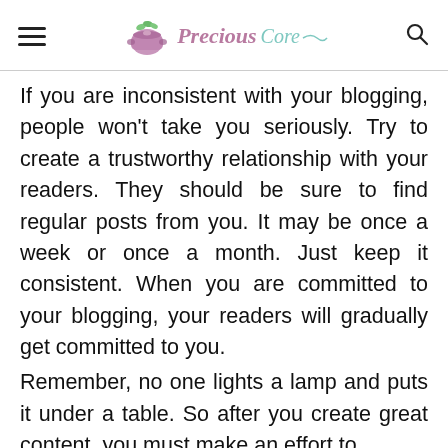Precious Core
If you are inconsistent with your blogging, people won't take you seriously. Try to create a trustworthy relationship with your readers. They should be sure to find regular posts from you. It may be once a week or once a month. Just keep it consistent. When you are committed to your blogging, your readers will gradually get committed to you.
Remember, no one lights a lamp and puts it under a table. So after you create great content, you must make an effort to